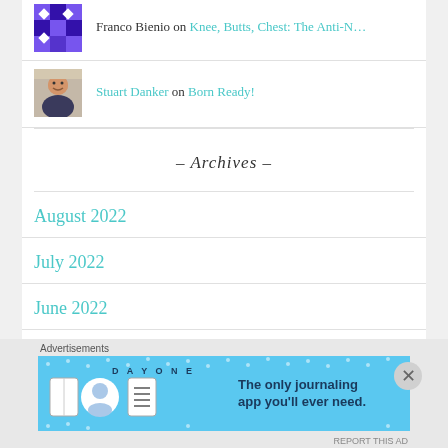Franco Bienio on Knee, Butts, Chest: The Anti-N...
Stuart Danker on Born Ready!
- Archives -
August 2022
July 2022
June 2022
May 2022
Advertisements
[Figure (screenshot): Day One journaling app advertisement banner with blue background showing app icons and text 'The only journaling app you'll ever need.']